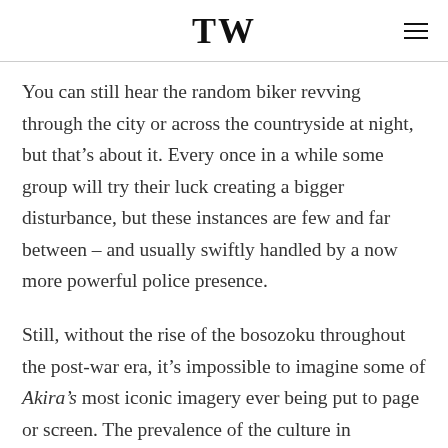TW
You can still hear the random biker revving through the city or across the countryside at night, but that’s about it. Every once in a while some group will try their luck creating a bigger disturbance, but these instances are few and far between – and usually swiftly handled by a now more powerful police presence.
Still, without the rise of the bosozoku throughout the post-war era, it’s impossible to imagine some of Akira’s most iconic imagery ever being put to page or screen. The prevalence of the culture in